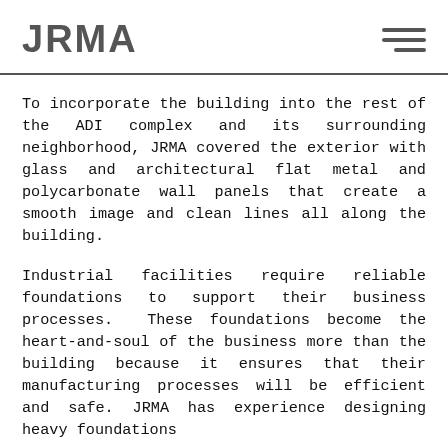JRMA
To incorporate the building into the rest of the ADI complex and its surrounding neighborhood, JRMA covered the exterior with glass and architectural flat metal and polycarbonate wall panels that create a smooth image and clean lines all along the building.
Industrial facilities require reliable foundations to support their business processes. These foundations become the heart-and-soul of the business more than the building because it ensures that their manufacturing processes will be efficient and safe. JRMA has experience designing heavy foundations